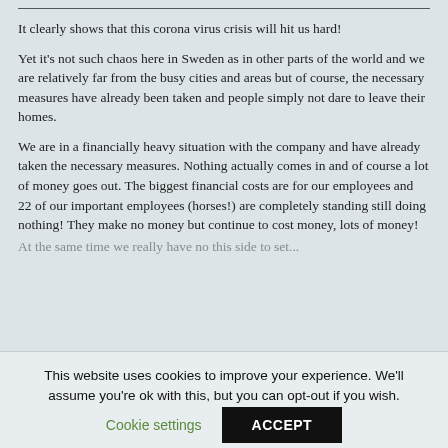It clearly shows that this corona virus crisis will hit us hard!
Yet it's not such chaos here in Sweden as in other parts of the world and we are relatively far from the busy cities and areas but of course, the necessary measures have already been taken and people simply not dare to leave their homes.
We are in a financially heavy situation with the company and have already taken the necessary measures. Nothing actually comes in and of course a lot of money goes out. The biggest financial costs are for our employees and 22 of our important employees (horses!) are completely standing still doing nothing! They make no money but continue to cost money, lots of money!
At the same time we really have no this side to set...
This website uses cookies to improve your experience. We'll assume you're ok with this, but you can opt-out if you wish.
Cookie settings | ACCEPT